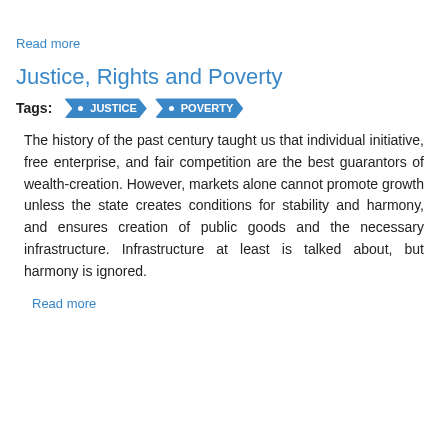Read more
Justice, Rights and Poverty
Tags: JUSTICE POVERTY
The history of the past century taught us that individual initiative, free enterprise, and fair competition are the best guarantors of wealth-creation. However, markets alone cannot promote growth unless the state creates conditions for stability and harmony, and ensures creation of public goods and the necessary infrastructure. Infrastructure at least is talked about, but harmony is ignored.
Read more